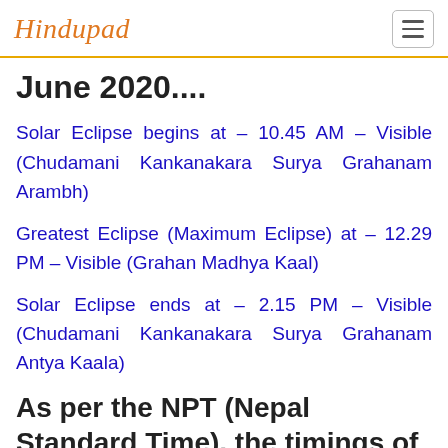Hindupad
June 2020....
Solar Eclipse begins at – 10.45 AM – Visible (Chudamani Kankanakara Surya Grahanam Arambh)
Greatest Eclipse (Maximum Eclipse) at – 12.29 PM – Visible (Grahan Madhya Kaal)
Solar Eclipse ends at – 2.15 PM – Visible (Chudamani Kankanakara Surya Grahanam Antya Kaala)
As per the NPT (Nepal Standard Time), the timings of